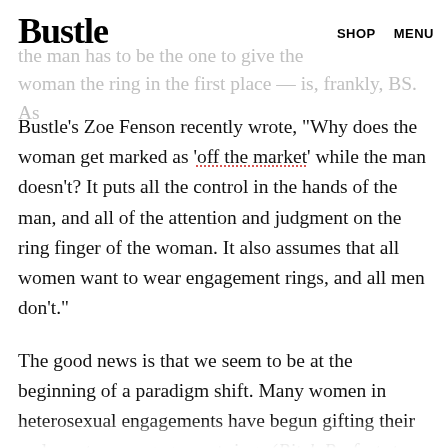Bustle  SHOP  MENU
the man has to be the one to give the woman the ring in the first place — is, frankly, BS. As
Bustle’s Zoe Fenson recently wrote, “Why does the woman get marked as ‘off the market’ while the man doesn’t? It puts all the control in the hands of the man, and all of the attention and judgment on the ring finger of the woman. It also assumes that all women want to wear engagement rings, and all men don’t.”
The good news is that we seem to be at the beginning of a paradigm shift. Many women in heterosexual engagements have begun gifting their male partners engagement rings (Pitch Perfect stars Skylar Astin and Anna Camp, for example, both wear them);